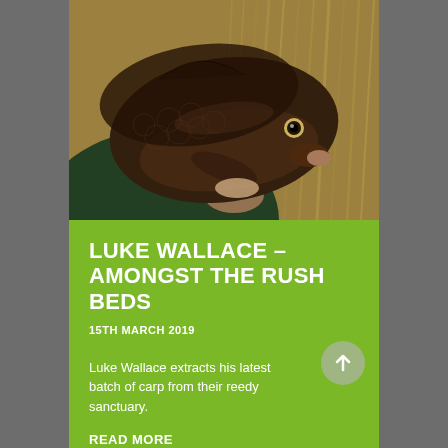[Figure (photo): A person holding a large dark-colored carp fish up close to the camera, with reedy background. The fish is very large with dark brown/black coloring and white underbelly visible.]
LUKE WALLACE – AMONGST THE RUSH BEDS
15TH MARCH 2019
Luke Wallace extracts his latest batch of carp from their reedy sanctuary.
READ MORE